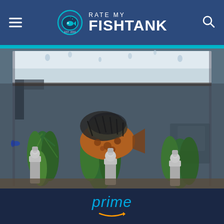Rate My Fishtank (Est. 2003) — navigation header with menu and search icons
[Figure (photo): Photograph of an aquarium fishtank showing a large patterned fish (appears to be a plecostomus or similar) among green aquatic plants with several white lady statue decorations on the gravel floor. A blue betta fish is visible on the left side. The tank glass has water droplets on the outside.]
[Figure (logo): Amazon Prime advertisement banner with 'prime' text in cyan/light-blue italic font and Amazon smile arrow logo on dark navy background.]